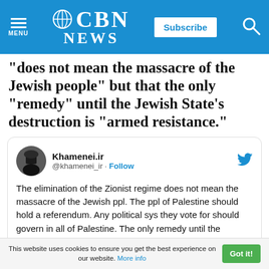CBN NEWS
“does not mean the massacre of the Jewish people” but that the only “remedy” until the Jewish State’s destruction is “armed resistance.”
[Figure (screenshot): Embedded tweet from @khamenei_ir dated 7:26 PM · May 21, 2020 with 6.6K likes. Tweet text: The elimination of the Zionist regime does not mean the massacre of the Jewish ppl. The ppl of Palestine should hold a referendum. Any political sys they vote for should govern in all of Palestine. The only remedy until the removal of the Zionist regime is firm, armed resistance.]
This website uses cookies to ensure you get the best experience on our website. More info